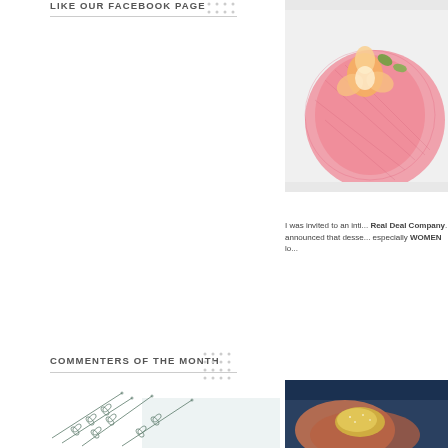LIKE OUR FACEBOOK PAGE
[Figure (illustration): Decorative dot grid pattern next to Facebook header]
[Figure (illustration): Larger dot grid pattern next to Commenters of the Month header]
COMMENTERS OF THE MONTH
[Figure (illustration): Botanical line drawing of leafy branches, partially cropped]
[Figure (photo): Close-up photo of pink flower with orange orchid blossom on light background]
I was invited to an inti... Real Deal Company. announced that desse... especially WOMEN lo...
[Figure (photo): Close-up photo of a hand holding golden/glittery food powder or crumbs]